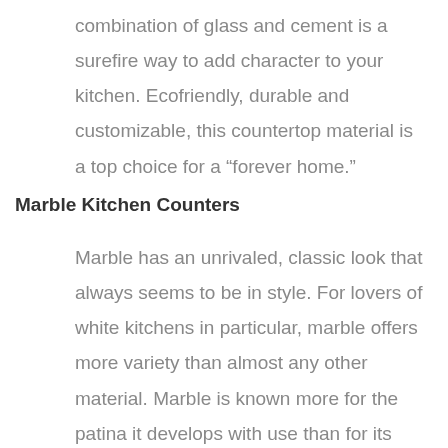combination of glass and cement is a surefire way to add character to your kitchen. Ecofriendly, durable and customizable, this countertop material is a top choice for a “forever home.”
Marble Kitchen Counters
Marble has an unrivaled, classic look that always seems to be in style. For lovers of white kitchens in particular, marble offers more variety than almost any other material. Marble is known more for the patina it develops with use than for its durability. It’s a softer stone than granite, and can scratch and stain easily; the cost